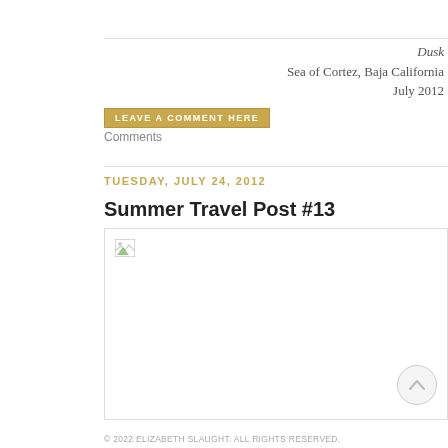Dusk
Sea of Cortez, Baja California
July 2012
LEAVE A COMMENT HERE
Comments
TUESDAY, JULY 24, 2012
Summer Travel Post #13
[Figure (photo): Broken/missing image placeholder for a travel photo]
© 2022 ELIZABETH SLAUGHT. ALL RIGHTS RESERVED.